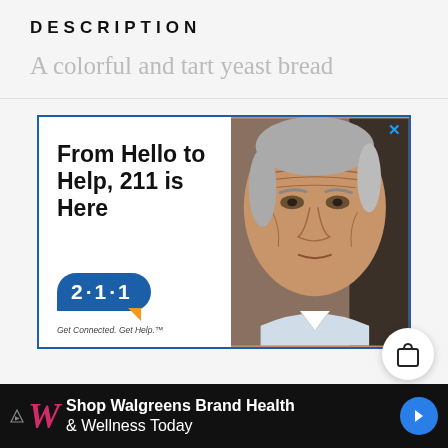DESCRIPTION
A colorful and tart yeast bread
[Figure (photo): Advertisement: '211 is Here' service ad with elderly man photo and 2·1·1 Get Connected. Get Help. branding]
[Figure (infographic): Bottom banner ad: Shop Walgreens Brand Health & Wellness Today]